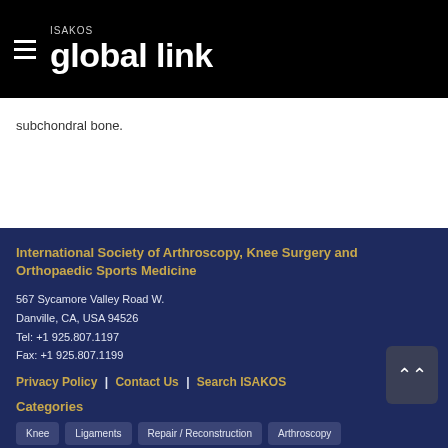ISAKOS global link
subchondral bone.
International Society of Arthroscopy, Knee Surgery and Orthopaedic Sports Medicine
567 Sycamore Valley Road W.
Danville, CA, USA 94526
Tel: +1 925.807.1197
Fax: +1 925.807.1199
Privacy Policy  |  Contact Us  |  Search ISAKOS
Categories
Knee
Ligaments
Repair / Reconstruction
Arthroscopy